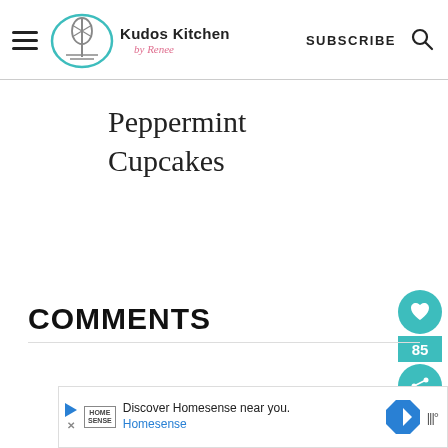Kudos Kitchen by Renee — SUBSCRIBE
Peppermint Cupcakes
COMMENTS
Jill Baird says
Discover Homesense near you. Homesense